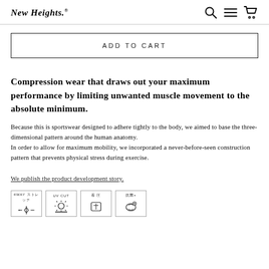New Heights.®
ADD TO CART
Compression wear that draws out your maximum performance by limiting unwanted muscle movement to the absolute minimum.
Because this is sportswear designed to adhere tightly to the body, we aimed to base the three-dimensional pattern around the human anatomy.
In order to allow for maximum mobility, we incorporated a never-before-seen construction pattern that prevents physical stress during exercise.
We publish the product development story.
[Figure (other): Four small icon boxes showing product features: 4WAY stretch, UV CUT, some kanji feature, and another kanji feature, each with a small illustration]